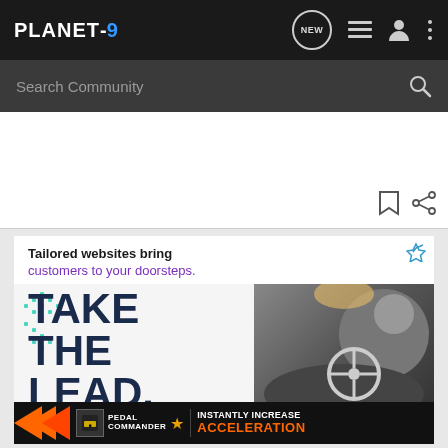PLANET-9
Search Community
[Figure (screenshot): Advertisement banner: 'Tailored websites bring customers to your doorsteps. TAKE THE LEAD.' with Pedal Commander ad at bottom showing 'INSTANTLY INCREASE ACCELERATION']